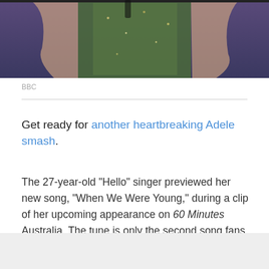[Figure (photo): Cropped photo of a performer (Adele) on stage wearing a green sequined outfit, hands raised, against a purple/blue stage background. Only the torso and arms are visible.]
BBC
Get ready for another heartbreaking Adele smash.
The 27-year-old "Hello" singer previewed her new song, "When We Were Young," during a clip of her upcoming appearance on 60 Minutes Australia. The tune is only the second song fans have heard from her feverishly anticipated new album, 25, which debuts on Nov. 20.